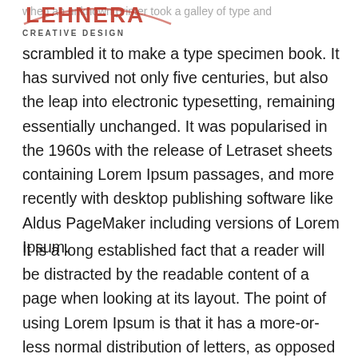LEHNERA CREATIVE DESIGN
when an unknown printer took a galley of type and scrambled it to make a type specimen book. It has survived not only five centuries, but also the leap into electronic typesetting, remaining essentially unchanged. It was popularised in the 1960s with the release of Letraset sheets containing Lorem Ipsum passages, and more recently with desktop publishing software like Aldus PageMaker including versions of Lorem Ipsum.
It is a long established fact that a reader will be distracted by the readable content of a page when looking at its layout. The point of using Lorem Ipsum is that it has a more-or-less normal distribution of letters, as opposed to using ‘Content here, content here’, making it look like readable English. Many desktop publishing packages and web page editors now use Lorem Ipsum as their default model text, and a search for ‘lorem